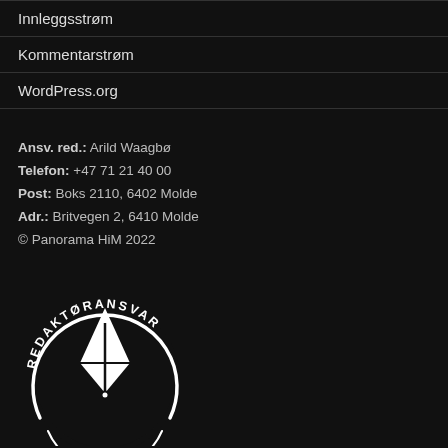Innleggsstrøm
Kommentarstrøm
WordPress.org
Ansv. red.: Arild Waagbø
Telefon: +47 71 21 40 00
Post: Boks 2110, 6402 Molde
Adr.: Britvegen 2, 6410 Molde
© Panorama HiM 2022
[Figure (logo): Redaktøransvar logo — circular badge with text REDAKTØRANSVAR around the top and a white pen nib icon in the center on black background]